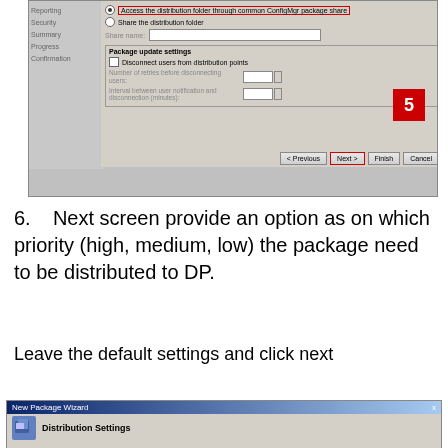[Figure (screenshot): Windows dialog box showing distribution folder settings with radio buttons, share name field, package update settings group box, and navigation buttons (Previous, Next, Finish, Cancel). A red callout number '5' points to the 'Next >' button which is highlighted with a red border. The first radio option 'Access the distribution folder through common ConfigMgr package share' is also highlighted with a red border.]
6.    Next screen provide an option as on which priority (high, medium, low) the package need to be distributed to DP.
Leave the default settings and click next
[Figure (screenshot): Bottom portion of 'New Package Wizard' dialog showing 'Distribution Settings' section header with an icon.]